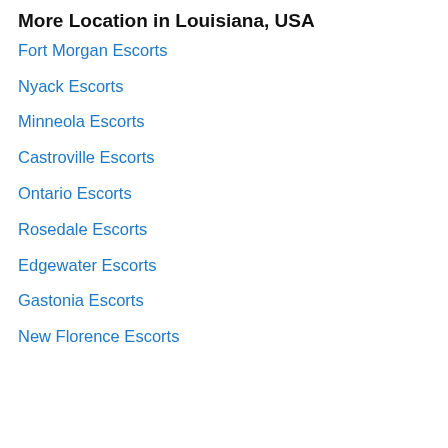More Location in Louisiana, USA
Fort Morgan Escorts
Nyack Escorts
Minneola Escorts
Castroville Escorts
Ontario Escorts
Rosedale Escorts
Edgewater Escorts
Gastonia Escorts
New Florence Escorts